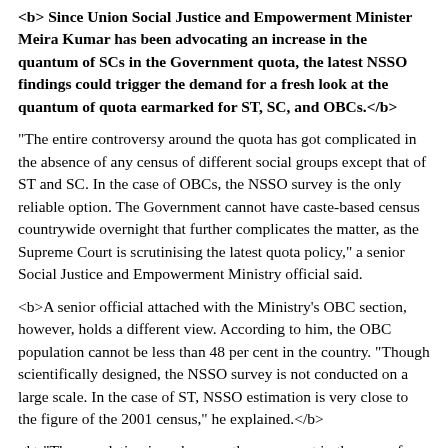<b> Since Union Social Justice and Empowerment Minister Meira Kumar has been advocating an increase in the quantum of SCs in the Government quota, the latest NSSO findings could trigger the demand for a fresh look at the quantum of quota earmarked for ST, SC, and OBCs.</b>
"The entire controversy around the quota has got complicated in the absence of any census of different social groups except that of ST and SC. In the case of OBCs, the NSSO survey is the only reliable option. The Government cannot have caste-based census countrywide overnight that further complicates the matter, as the Supreme Court is scrutinising the latest quota policy," a senior Social Justice and Empowerment Ministry official said.
<b>A senior official attached with the Ministry's OBC section, however, holds a different view. According to him, the OBC population cannot be less than 48 per cent in the country. "Though scientifically designed, the NSSO survey is not conducted on a large scale. In the case of ST, NSSO estimation is very close to the figure of the 2001 census," he explained.</b>
<b>"The population is up by over three per cent in the case of SCs, a larger community. Since OBCs are a larger community, NSSO estimation of 41.1 per cent OBC population might not be very close to the realities. There will certainly be an upward variation of 7 to 8 per cent if the Census is done,"</b> the official